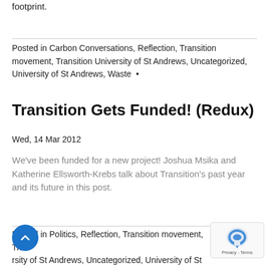footprint.
Posted in Carbon Conversations, Reflection, Transition movement, Transition University of St Andrews, Uncategorized, University of St Andrews, Waste •
Transition Gets Funded! (Redux)
Wed, 14 Mar 2012
We've been funded for a new project! Joshua Msika and Katherine Ellsworth-Krebs talk about Transition's past year and its future in this post.
Posted in Politics, Reflection, Transition movement, Transition University of St Andrews, Uncategorized, University of St Andrews •